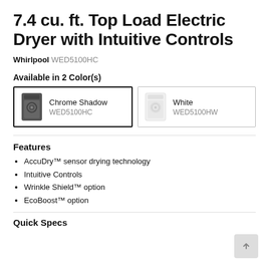7.4 cu. ft. Top Load Electric Dryer with Intuitive Controls
Whirlpool WED5100HC
Available in 2 Color(s)
[Figure (other): Two color option cards side by side. Left card (selected, black border): Chrome Shadow, WED5100HC with dark dryer image. Right card: White, WED5100HW with white dryer image.]
Features
AccuDry™ sensor drying technology
Intuitive Controls
Wrinkle Shield™ option
EcoBoost™ option
Quick Specs